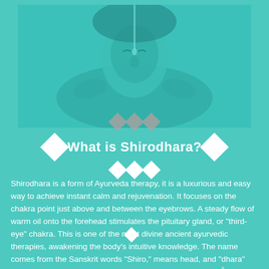[Figure (photo): Person lying down receiving Shirodhara treatment, viewed from above, with teal/turquoise color overlay. A stream of oil appears to drip onto the person's forehead.]
What is Shirodhara?
Shirodhara is a form of Ayurveda therapy, it is a luxurious and easy way to achieve instant calm and rejuvenation. It focuses on the chakra point just above and between the eyebrows. A steady flow of warm oil onto the forehead stimulates the pituitary gland, or "third-eye" chakra. This is one of the most divine ancient ayurvedic therapies, awakening the body's intuitive knowledge. The name comes from the Sanskrit words "Shiro," means head, and "dhara" means flow. Therefore, Shirodhara is the continuous flow o